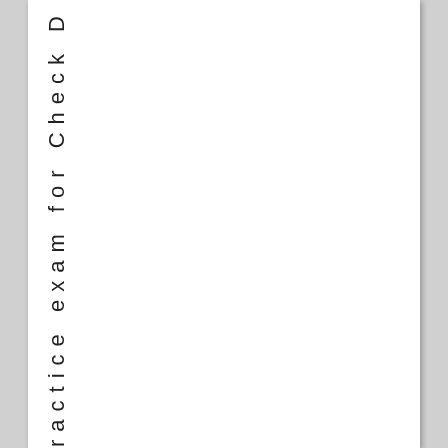5.13 practice exam for Check D